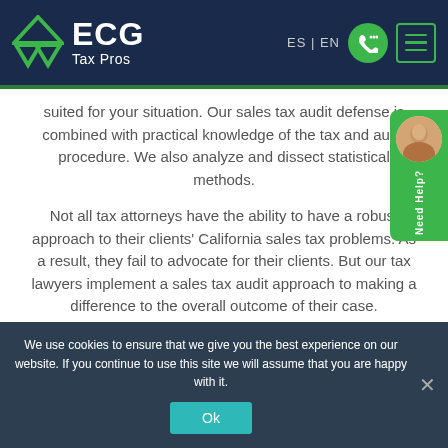ECG Tax Pros — ES | EN navigation header
suited for your situation. Our sales tax audit defense is combined with practical knowledge of the tax and audit procedure. We also analyze and dissect statistical methods.
Not all tax attorneys have the ability to have a robust approach to their clients' California sales tax problems. As a result, they fail to advocate for their clients. But our tax lawyers implement a sales tax audit approach to making a difference to the overall outcome of their case.
We use cookies to ensure that we give you the best experience on our website. If you continue to use this site we will assume that you are happy with it.